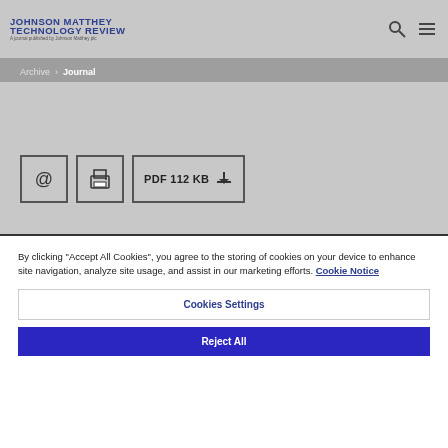JOHNSON MATTHEY TECHNOLOGY REVIEW — A journal published by Johnson Matthey plc
Archive > Journal
[Figure (other): Action buttons: email icon, print icon, PDF 112 KB download button]
By clicking "Accept All Cookies", you agree to the storing of cookies on your device to enhance site navigation, analyze site usage, and assist in our marketing efforts. Cookie Notice
Cookies Settings
Reject All